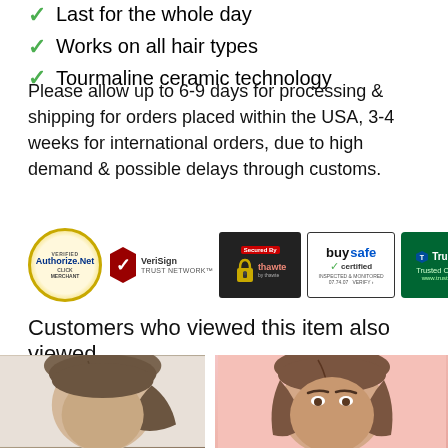Last for the whole day
Works on all hair types
Tourmaline ceramic technology
Please allow up to 6-9 days for processing & shipping for orders placed within the USA, 3-4 weeks for international orders, due to high demand & possible delays through customs.
[Figure (logo): Security trust badges: Authorize.Net Verified Merchant, VeriSign Trust Network, Secured By Thawte, buysafe certified, Trustwave Trusted Commerce]
Customers who viewed this item also viewed
[Figure (photo): Photo of woman with brown hair pulled back, white background]
[Figure (photo): Photo of woman with brown hair, pink background]